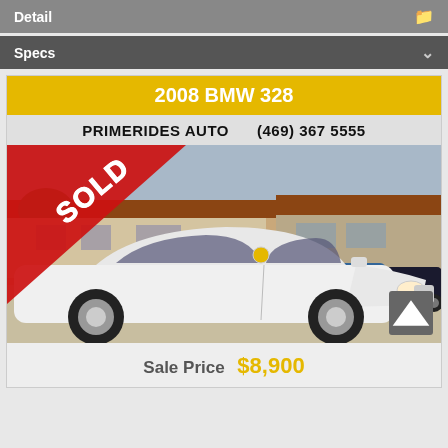Detail
Specs
2008 BMW 328
PRIMERIDES AUTO   (469) 367 5555
[Figure (photo): White 2008 BMW 328 sedan at a dealership lot with a red SOLD banner overlay in upper left corner. Other cars visible in background.]
Sale Price  $8,900